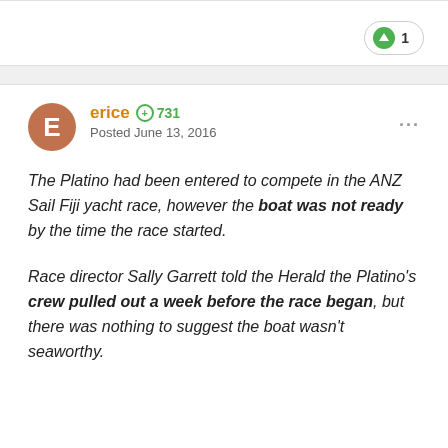erice +731 Posted June 13, 2016
The Platino had been entered to compete in the ANZ Sail Fiji yacht race, however the boat was not ready by the time the race started.
Race director Sally Garrett told the Herald the Platino's crew pulled out a week before the race began, but there was nothing to suggest the boat wasn't seaworthy.